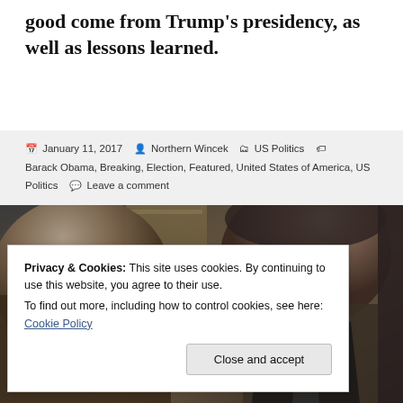good come from Trump's presidency, as well as lessons learned.
January 11, 2017 · Northern Wincek · US Politics · Barack Obama, Breaking, Election, Featured, United States of America, US Politics · Leave a comment
[Figure (photo): Photo of Barack Obama and another figure, partially visible, in a formal indoor setting]
Privacy & Cookies: This site uses cookies. By continuing to use this website, you agree to their use.
To find out more, including how to control cookies, see here: Cookie Policy
Close and accept